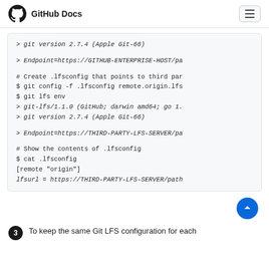GitHub Docs
[Figure (screenshot): Code block showing git lfs env output, endpoint configuration for GITHUB-ENTERPRISE-HOST, git config for .lfsconfig, git lfs env output for THIRD-PARTY-LFS-SERVER, and cat .lfsconfig showing lfsurl setting]
3. To keep the same Git LFS configuration for each